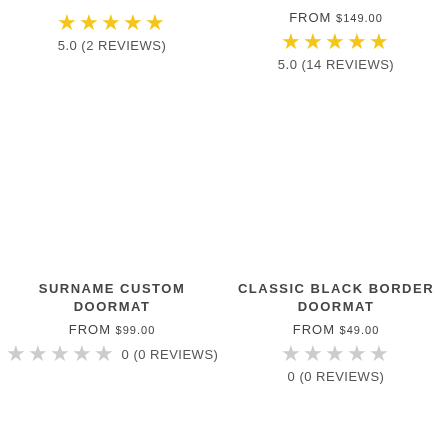★★★★★ 5.0 (2 REVIEWS)
FROM $149.00 ★★★★★ 5.0 (14 REVIEWS)
SURNAME CUSTOM DOORMAT
FROM $99.00
0 (0 REVIEWS)
CLASSIC BLACK BORDER DOORMAT
FROM $49.00
0 (0 REVIEWS)